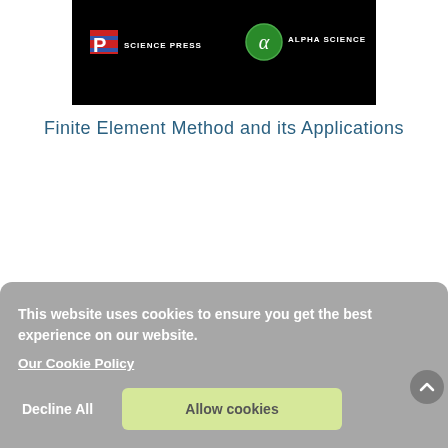[Figure (logo): Black banner with Science Press logo (red/blue striped P icon and text 'SCIENCE PRESS') on the left and Alpha Science logo (green circle with alpha symbol and text 'ALPHA SCIENCE') on the right]
Finite Element Method and its Applications
This website uses cookies to ensure you get the best experience on our website.
Our Cookie Policy
Decline All
Allow cookies